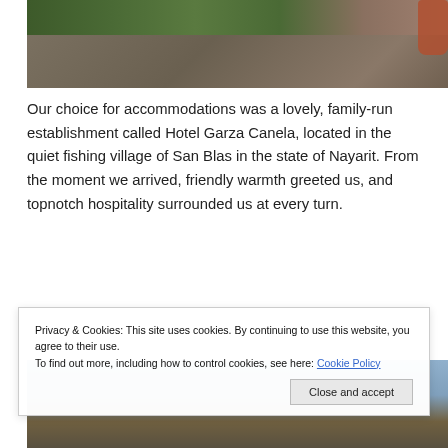[Figure (photo): Outdoor garden/courtyard area with green plants, stone path/walkway, and a terracotta pot with flowers on the right edge]
Our choice for accommodations was a lovely, family-run establishment called Hotel Garza Canela, located in the quiet fishing village of San Blas in the state of Nayarit. From the moment we arrived, friendly warmth greeted us, and topnotch hospitality surrounded us at every turn.
[Figure (photo): Outdoor scene of Hotel Garza Canela building exterior, showing blue sky, wooden structure and signage]
Privacy & Cookies: This site uses cookies. By continuing to use this website, you agree to their use.
To find out more, including how to control cookies, see here: Cookie Policy
Close and accept